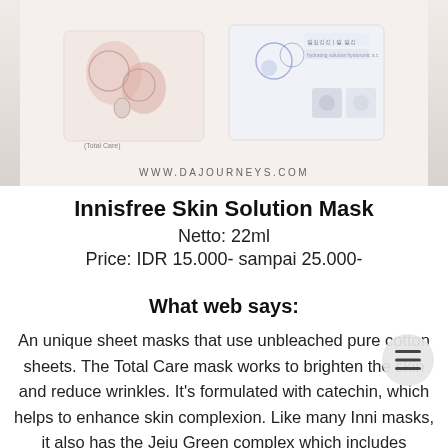[Figure (photo): Product photo of Innisfree Skin Solution Mask packets with floral and botanical design, watermark WWW.DAJOURNEYS.COM at bottom]
Innisfree Skin Solution Mask
Netto: 22ml
Price: IDR 15.000- sampai 25.000-
What web says:
An unique sheet masks that use unbleached pure cotton sheets. The Total Care mask works to brighten the skin and reduce wrinkles. It's formulated with catechin, which helps to enhance skin complexion. Like many Inni masks, it also has the Jeju Green complex which includes ingredients like green tea, tangerine, cactus, camellia